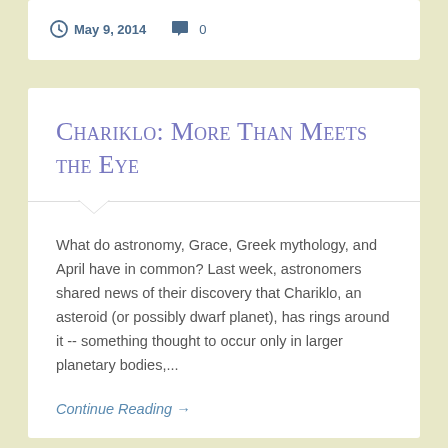May 9, 2014   0
Chariklo: More Than Meets the Eye
What do astronomy, Grace, Greek mythology, and April have in common? Last week, astronomers shared news of their discovery that Chariklo, an asteroid (or possibly dwarf planet), has rings around it -- something thought to occur only in larger planetary bodies,...
Continue Reading →